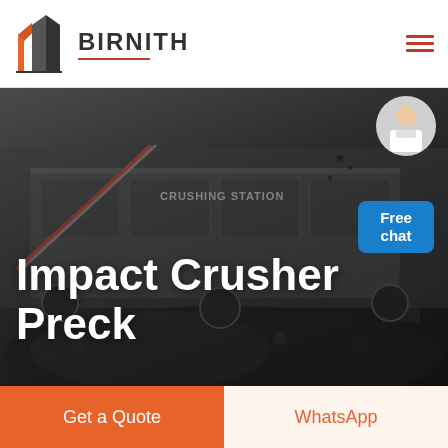BIRNITH
[Figure (photo): Industrial impact crusher / mobile crushing station photographed from the side, showing heavy machinery with conveyor belts and a large pile of crushed black rock/coal in the foreground. Text 'CRUSHING STATION' visible on the machine.]
Impact Crusher Preck
[Figure (photo): Customer service representative avatar — woman in white blazer with headset, positioned top-right corner with 'Free chat' blue bubble button]
Get a Quote
WhatsApp